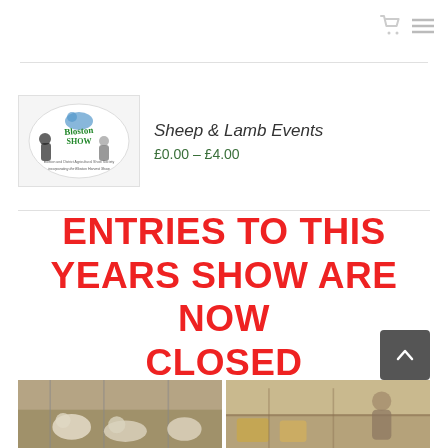[Figure (logo): Bloston Show agricultural show society logo — circular badge with animals and green/blue text]
Sheep & Lamb Events
£0.00 – £4.00
ENTRIES TO THIS YEARS SHOW ARE NOW CLOSED
[Figure (photo): Two photos at the bottom: left shows sheep/lambs in a show setting, right shows animals and a stall at the show]